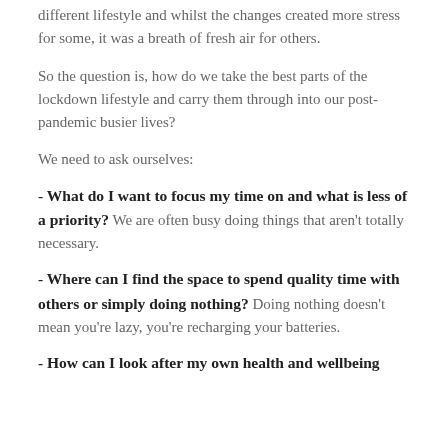different lifestyle and whilst the changes created more stress for some, it was a breath of fresh air for others.
So the question is, how do we take the best parts of the lockdown lifestyle and carry them through into our post-pandemic busier lives?
We need to ask ourselves:
- What do I want to focus my time on and what is less of a priority? We are often busy doing things that aren't totally necessary.
- Where can I find the space to spend quality time with others or simply doing nothing? Doing nothing doesn't mean you're lazy, you're recharging your batteries.
- How can I look after my own health and wellbeing